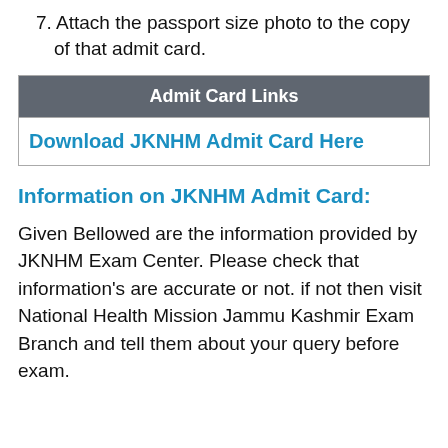7. Attach the passport size photo to the copy of that admit card.
| Admit Card Links |
| --- |
| Download JKNHM Admit Card Here |
Information on JKNHM Admit Card:
Given Bellowed are the information provided by JKNHM Exam Center. Please check that information's are accurate or not. if not then visit National Health Mission Jammu Kashmir Exam Branch and tell them about your query before exam.